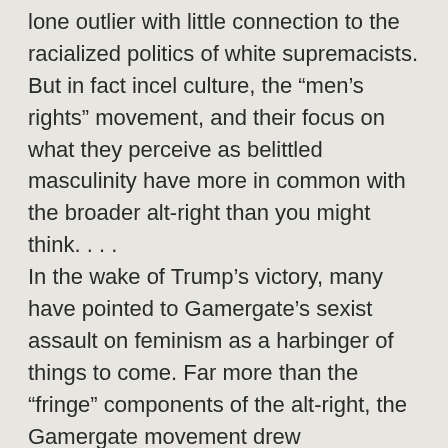lone outlier with little connection to the racialized politics of white supremacists. But in fact incel culture, the “men’s rights” movement, and their focus on what they perceive as belittled masculinity have more in common with the broader alt-right than you might think. . . . In the wake of Trump’s victory, many have pointed to Gamergate’s sexist assault on feminism as a harbinger of things to come. Far more than the “fringe” components of the alt-right, the Gamergate movement drew mainstream attention from its beginnings in August 2014 and gained extensive coverage from popular geek media outlets as well as international news organizations as it grew. . . . The ease with which the alt-right channels male insecurity around women’s rights into an ideology